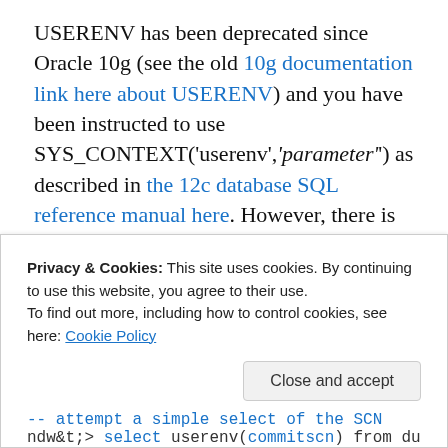USERENV has been deprecated since Oracle 10g (see the old 10g documentation link here about USERENV) and you have been instructed to use SYS_CONTEXT('userenv','parameter') as described in the 12c database SQL reference manual here. However, there is no way to get the commit SCN from SYS_CONTEXT that I can find, so I thought I'd check out if USERENV('COMMITSCN') still works. It does, on my version of Oracle 12.1.0.2!
Privacy & Cookies: This site uses cookies. By continuing to use this website, you agree to their use. To find out more, including how to control cookies, see here: Cookie Policy
-- attempt a simple select of the SCN
ndw&t; select userenv('commitscn') from du